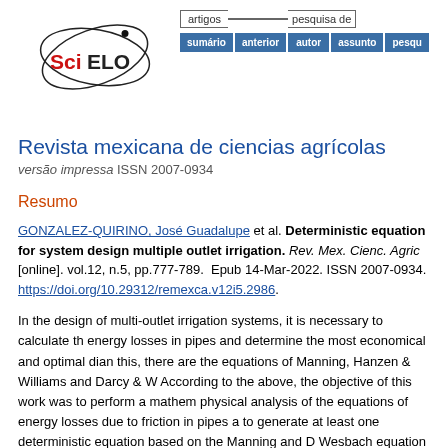[Figure (logo): SciELO logo with stylized orbital graphic in black and red text]
artigos   pesquisa de | sumário  anterior  autor  assunto  pesqu
Revista mexicana de ciencias agrícolas
versão impressa ISSN 2007-0934
Resumo
GONZALEZ-QUIRINO, José Guadalupe et al. Deterministic equation for system design multiple outlet irrigation. Rev. Mex. Cienc. Agric [online]. vol.12, n.5, pp.777-789.  Epub 14-Mar-2022. ISSN 2007-0934. https://doi.org/10.29312/remexca.v12i5.2986.
In the design of multi-outlet irrigation systems, it is necessary to calculate the energy losses in pipes and determine the most economical and optimal dia this, there are the equations of Manning, Hanzen & Williams and Darcy & W According to the above, the objective of this work was to perform a mathem physical analysis of the equations of energy losses due to friction in pipes a to generate at least one deterministic equation based on the Manning and D Wesbach equation for the hydraulic design of multi-outlet irrigation and redu costs in the operation of agricultural irrigation equipment. The study was cor